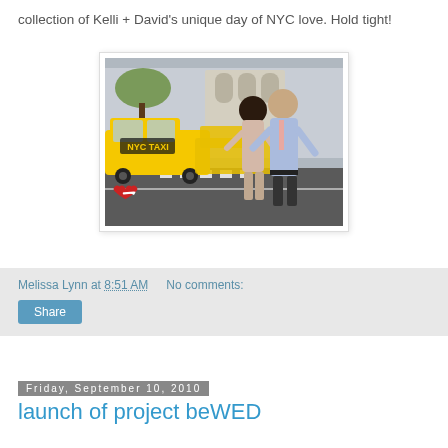collection of Kelli + David's unique day of NYC love. Hold tight!
[Figure (photo): A couple standing close together facing each other on a NYC street crosswalk, with yellow NYC taxis in the background. The woman wears a light pink/beige dress and the man wears a light blue shirt with a pink tie. A red heart with a white arrow icon is visible in the lower-left corner of the photo.]
Melissa Lynn at 8:51 AM   No comments:
Share
Friday, September 10, 2010
launch of project beWED